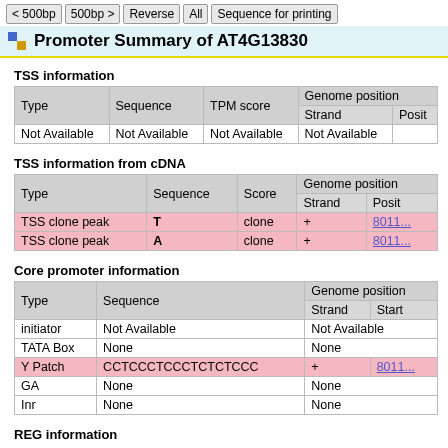< 500bp  500bp >  Reverse  All  Sequence for printing
Promoter Summary of AT4G13830
TSS information
| Type | Sequence | TPM score | Genome position |  | Strand | Posit |
| --- | --- | --- | --- | --- | --- | --- |
| Not Available | Not Available | Not Available | Not Available |  |
TSS information from cDNA
| Type | Sequence | Score | Genome position |  | Strand | Posit |
| --- | --- | --- | --- | --- | --- | --- |
| TSS clone peak | T | clone | + | 8011... |
| TSS clone peak | A | clone | + | 8011... |
Core promoter information
| Type | Sequence | Genome position |  | Strand | Start |
| --- | --- | --- | --- | --- | --- |
| initiator | Not Available | Not Available |  |
| TATA Box | None | None |  |
| Y Patch | CCTCCCTCCCTCTCTCCC | + | 8011... |
| GA | None | None |  |
| Inr | None | None |  |
REG information